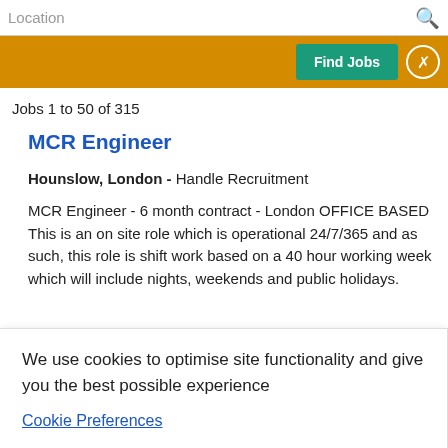Location [search bar with search icon]
Find Jobs [button] [close button]
Jobs 1 to 50 of 315
MCR Engineer
Hounslow, London - Handle Recruitment
MCR Engineer - 6 month contract - London OFFICE BASED This is an on site role which is operational 24/7/365 and as such, this role is shift work based on a 40 hour working week which will include nights, weekends and public holidays.
We use cookies to optimise site functionality and give you the best possible experience
Cookie Preferences
Accept
Limited